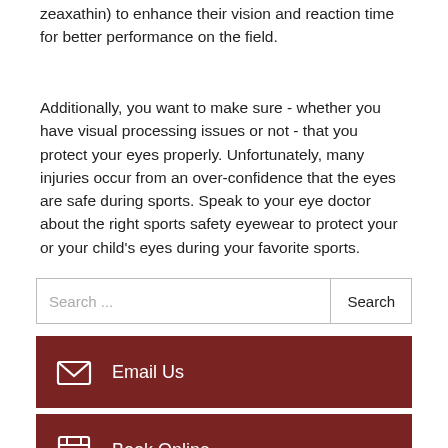zeaxathin) to enhance their vision and reaction time for better performance on the field.
Additionally, you want to make sure - whether you have visual processing issues or not - that you protect your eyes properly. Unfortunately, many injuries occur from an over-confidence that the eyes are safe during sports. Speak to your eye doctor about the right sports safety eyewear to protect your or your child's eyes during your favorite sports.
Search ...
Email Us
Book Online
Order Contacts